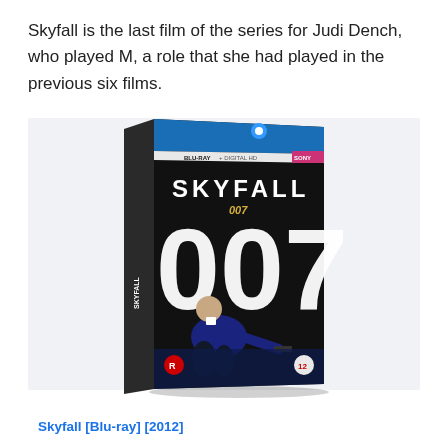Skyfall is the last film of the series for Judi Dench, who played M, a role that she had played in the previous six films.
[Figure (photo): Skyfall Blu-ray case showing 007 branding with Daniel Craig holding a gun, black and white large '007' text on the cover]
Skyfall [Blu-ray] [2012]